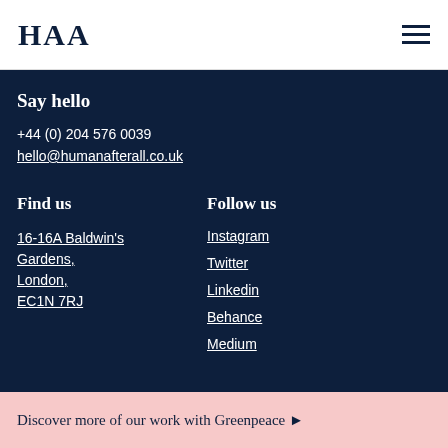HAA
Say hello
+44 (0) 204 576 0039
hello@humanafterall.co.uk
Find us
16-16A Baldwin's Gardens, London, EC1N 7RJ
Follow us
Instagram
Twitter
Linkedin
Behance
Medium
Discover more of our work with Greenpeace ▶